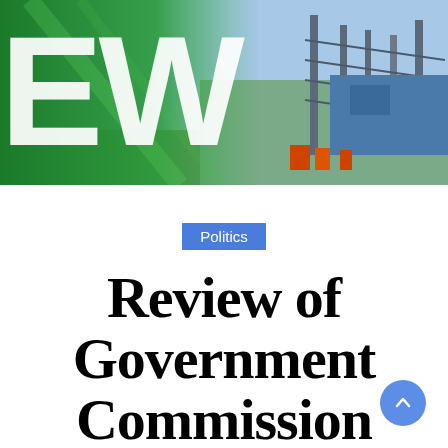[Figure (photo): Header banner photo showing fracking/drilling equipment with a green graphic overlay on the left side showing large letters 'EW' in white, and industrial drilling rig structures visible on the right against a blue sky background.]
Politics
Review of Government Commission Fracking Resume